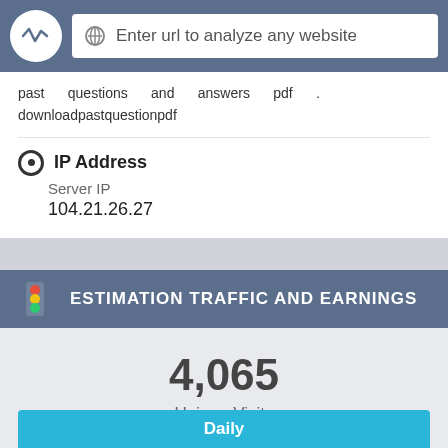Enter url to analyze any website
past questions and answers pdf . downloadpastquestionpdf
IP Address
Server IP
104.21.26.27
ESTIMATION TRAFFIC AND EARNINGS
4,065
Unique Visits
Daily